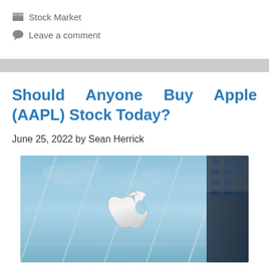Stock Market
Leave a comment
Should Anyone Buy Apple (AAPL) Stock Today?
June 25, 2022 by Sean Herrick
[Figure (photo): Apple Store exterior showing the large Apple logo on glass facade with blue sky reflections]